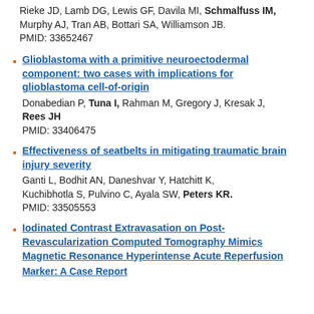Rieke JD, Lamb DG, Lewis GF, Davila MI, Schmalfuss IM, Murphy AJ, Tran AB, Bottari SA, Williamson JB. PMID: 33652467
Glioblastoma with a primitive neuroectodermal component: two cases with implications for glioblastoma cell-of-origin
Donabedian P, Tuna I, Rahman M, Gregory J, Kresak J, Rees JH
PMID: 33406475
Effectiveness of seatbelts in mitigating traumatic brain injury severity
Ganti L, Bodhit AN, Daneshvar Y, Hatchitt K, Kuchibhotla S, Pulvino C, Ayala SW, Peters KR.
PMID: 33505553
Iodinated Contrast Extravasation on Post-Revascularization Computed Tomography Mimics Magnetic Resonance Hyperintense Acute Reperfusion Marker: A Case Report